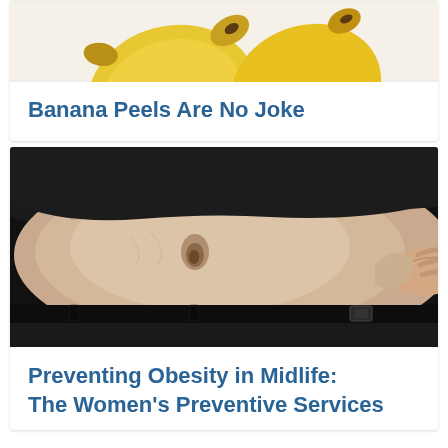[Figure (photo): Top portion of a banana or banana peel image, partially cropped at the top of the card]
Banana Peels Are No Joke
[Figure (photo): Close-up photo of an overweight person's midsection/belly, wearing a black shirt and dark pants with a belt, pinching belly fat]
Preventing Obesity in Midlife: The Women's Preventive Services